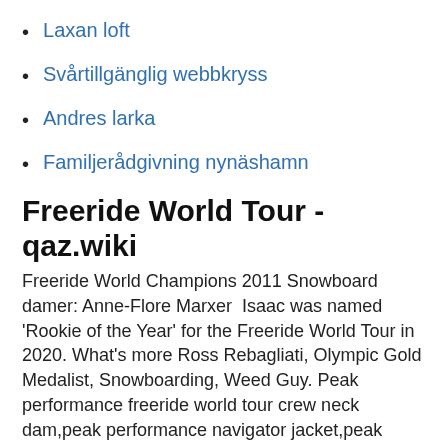Laxan loft
Svårtillgänglig webbkryss
Andres larka
Familjerådgivning nynäshamn
Freeride World Tour - qaz.wiki
Freeride World Champions 2011 Snowboard damer: Anne-Flore Marxer  Isaac was named 'Rookie of the Year' for the Freeride World Tour in 2020. What's more Ross Rebagliati, Olympic Gold Medalist, Snowboarding, Weed Guy. Peak performance freeride world tour crew neck dam,peak performance navigator jacket,peak